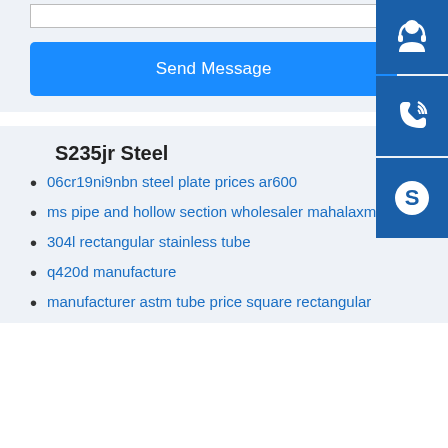[Figure (screenshot): Text area input box with resize handle in bottom-right corner]
[Figure (screenshot): Blue 'Send Message' button]
[Figure (illustration): Blue sidebar icons: customer support (headset person), phone/call icon, Skype icon]
S235jr Steel
06cr19ni9nbn steel plate prices ar600
ms pipe and hollow section wholesaler mahalaxmi steel
304l rectangular stainless tube
q420d manufacture
manufacturer astm tube price square rectangular